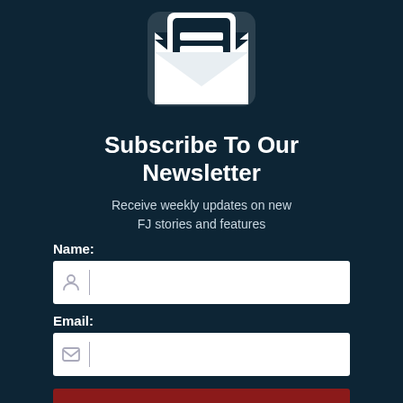[Figure (illustration): White envelope icon with a document/letter inside showing two horizontal lines, on a dark navy background]
Subscribe To Our Newsletter
Receive weekly updates on new FJ stories and features
Name:
Email:
Sign Up